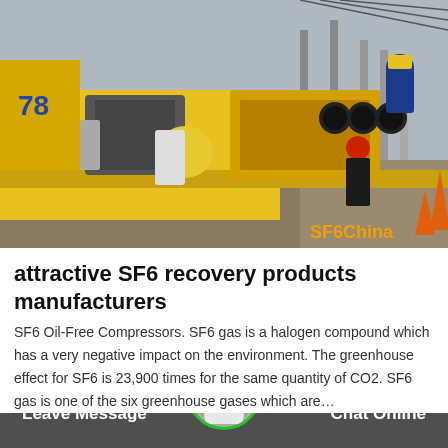[Figure (photo): Industrial scene showing SF6 recovery equipment – a yellow truck with heavy machinery and gas cylinders at a power substation. Workers in hard hats are visible. SF6China watermark in bottom-right corner.]
attractive SF6 recovery products manufacturers
SF6 Oil-Free Compressors. SF6 gas is a halogen compound which has a very negative impact on the environment. The greenhouse effect for SF6 is 23,900 times for the same quantity of CO2. SF6 gas is one of the six greenhouse gases which are…